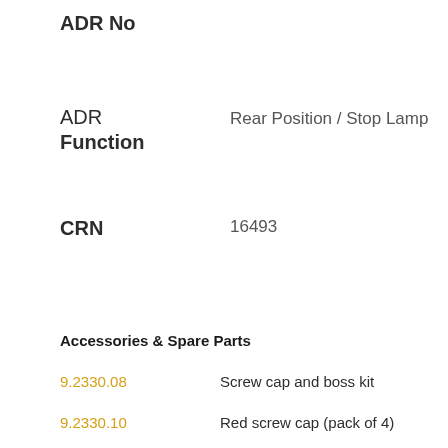ADR No
ADR Function
Rear Position / Stop Lamp
CRN
16493
Accessories & Spare Parts
9.2330.08	Screw cap and boss kit
9.2330.10	Red screw cap (pack of 4)